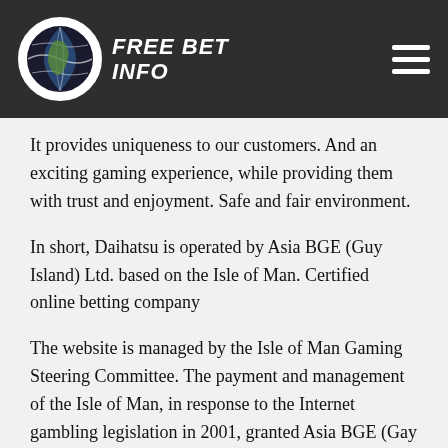FREE BET INFO
It provides uniqueness to our customers. And an exciting gaming experience, while providing them with trust and enjoyment. Safe and fair environment.
In short, Daihatsu is operated by Asia BGE (Guy Island) Ltd. based on the Isle of Man. Certified online betting company
The website is managed by the Isle of Man Gaming Steering Committee. The payment and management of the Isle of Man, in response to the Internet gambling legislation in 2001, granted Asia BGE (Gay Island) Limited a license.
Provided to excellent ones on this site. The content of users in the UK has been verified and a certain percentage of